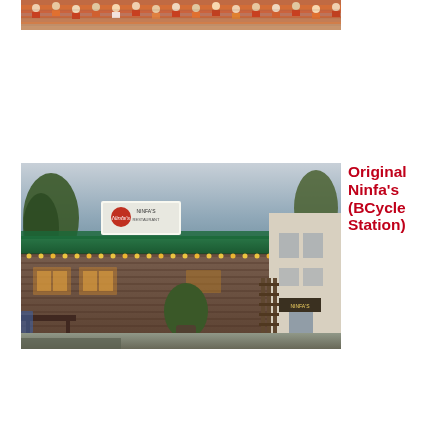[Figure (photo): Crowd scene at a sporting event, people wearing orange and white colors, stadium seating visible]
[Figure (photo): Exterior of Original Ninfa's restaurant at dusk, showing the iconic green roof, string lights along the roofline, brick building, signage with Ninfa's logo, trees, and a white adjacent building. A BCycle bike-share station is noted nearby.]
Original Ninfa's (BCycle Station)